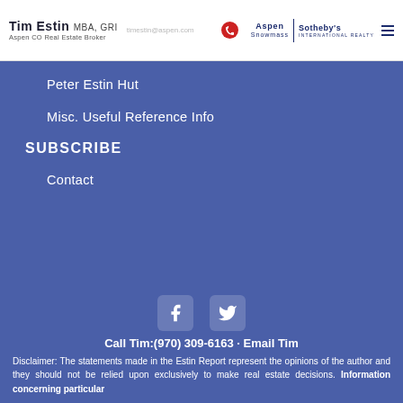Tim Estin MBA, GRI — Aspen CO Real Estate Broker | Aspen Snowmass | Sotheby's International Realty
Peter Estin Hut
Misc. Useful Reference Info
SUBSCRIBE
Contact
[Figure (illustration): Facebook and Twitter social media icons]
Call Tim:(970) 309-6163 · Email Tim
Disclaimer: The statements made in the Estin Report represent the opinions of the author and they should not be relied upon exclusively to make real estate decisions. Information concerning particular